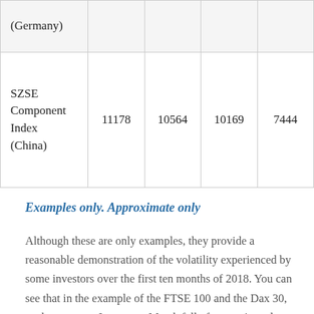| (Germany) |  |  |  |  |
| SZSE Component Index (China) | 11178 | 10564 | 10169 | 7444 |
Examples only. Approximate only
Although these are only examples, they provide a reasonable demonstration of the volatility experienced by some investors over the first ten months of 2018. You can see that in the example of the FTSE 100 and the Dax 30, we have seen a January to March fall of approximately 10% in the